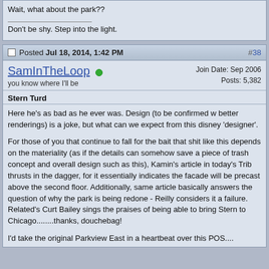Wait, what about the park??
Don't be shy. Step into the light.
Posted Jul 18, 2014, 1:42 PM  #38
SamInTheLoop
you know where I'll be
Join Date: Sep 2006
Posts: 5,382
Stern Turd
Here he's as bad as he ever was. Design (to be confirmed w better renderings) is a joke, but what can we expect from this disney 'designer'.

For those of you that continue to fall for the bait that shit like this depends on the materiality (as if the details can somehow save a piece of trash concept and overall design such as this), Kamin's article in today's Trib thrusts in the dagger, for it essentially indicates the facade will be precast above the second floor. Additionally, same article basically answers the question of why the park is being redone - Reilly considers it a failure. Related's Curt Bailey sings the praises of being able to bring Stern to Chicago........thanks, douchebag!

I'd take the original Parkview East in a heartbeat over this POS....